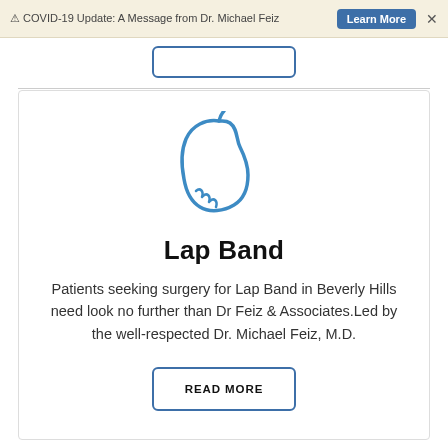⚠ COVID-19 Update: A Message from Dr. Michael Feiz
[Figure (illustration): Stomach icon drawn in blue outline style, representing gastric/bariatric surgery]
Lap Band
Patients seeking surgery for Lap Band in Beverly Hills need look no further than Dr Feiz & Associates.Led by the well-respected Dr. Michael Feiz, M.D.